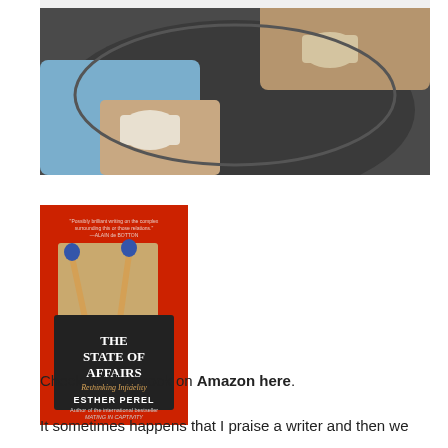[Figure (photo): Two people sitting at a round table, one with a blue sleeve and one with a ring, holding coffee cups or mugs, viewed from above.]
[Figure (photo): Book cover: 'The State of Affairs: Rethinking Infidelity' by Esther Perel, on a red background with matchsticks imagery.]
Check out this book on Amazon here.
It sometimes happens that I praise a writer and then we